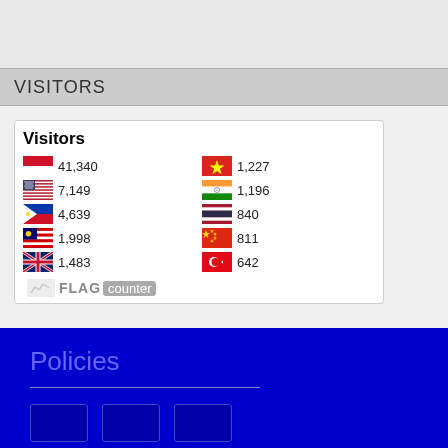VISITORS
[Figure (infographic): Flag counter widget showing Visitors count by country. Indonesia: 41,340; USA: 7,149; Philippines: 4,639; Malaysia: 1,998; UK: 1,483; Vietnam: 1,227; India: 1,196; Thailand: 840; China: 811; Turkey: 642. Branded with FLAG counter logo.]
Policies